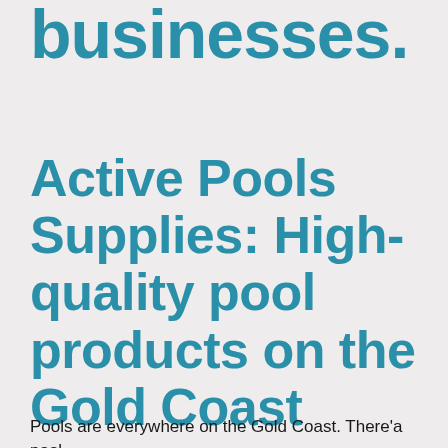businesses.
Active Pools Supplies: High-quality pool products on the Gold Coast
Pools are everywhere on the Gold Coast. There'a pool